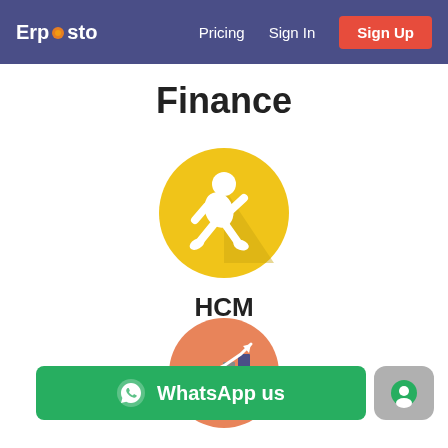Erpesto | Pricing | Sign In | Sign Up
Finance
[Figure (illustration): HCM icon: yellow circle with white running person figure]
HCM
[Figure (illustration): Sales/Analytics icon: orange circle with bar chart and arrow graphic]
WhatsApp us